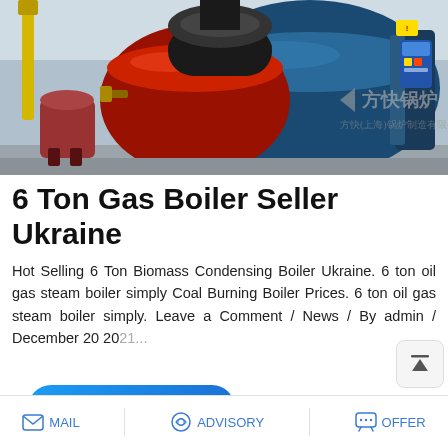[Figure (photo): Industrial gas boiler equipment in a factory setting. Large blue and red cylindrical boiler bodies visible. Chinese manufacturer watermark text and logo overlay on the image.]
6 Ton Gas Boiler Seller Ukraine
Hot Selling 6 Ton Biomass Condensing Boiler Ukraine. 6 ton oil gas steam boiler simply Coal Burning Boiler Prices. 6 ton oil gas steam boiler simply. Leave a Comment / News / By admin / December 20 2021
[Figure (other): READ MORE button - blue rounded rectangle button with white bold text]
[Figure (other): Save Stickers on WhatsApp promotional bar with purple-pink gradient background and app icons]
MAIL   ADVISORY   OFFER